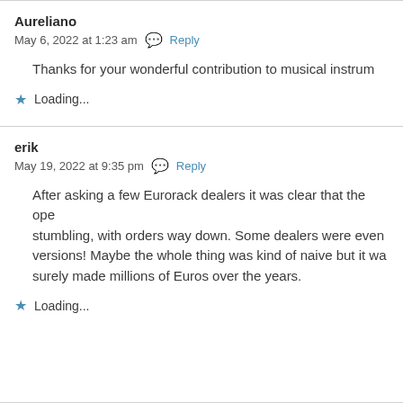Aureliano
May 6, 2022 at 1:23 am  Reply
Thanks for your wonderful contribution to musical instrum
Loading...
erik
May 19, 2022 at 9:35 pm  Reply
After asking a few Eurorack dealers it was clear that the ope stumbling, with orders way down. Some dealers were even versions! Maybe the whole thing was kind of naive but it wa surely made millions of Euros over the years.
Loading...